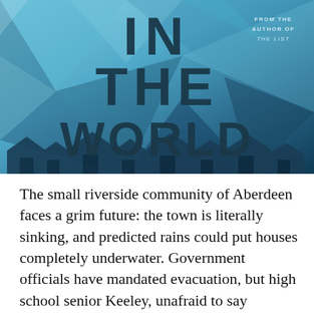[Figure (illustration): Book cover image showing large bold text 'IN THE WORLD' over a blue geometric/triangular background with silhouetted house rooftops at the bottom. Upper right corner reads 'FROM THE AUTHOR OF THE LIST' in small caps.]
The small riverside community of Aberdeen faces a grim future: the town is literally sinking, and predicted rains could put houses completely underwater. Government officials have mandated evacuation, but high school senior Keeley, unafraid to say [redacted] on of leavin[redacted] a